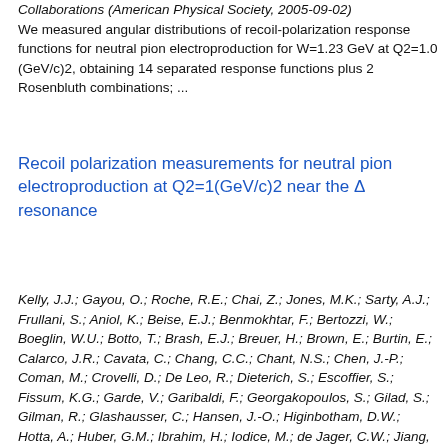Collaborations (American Physical Society, 2005-09-02) We measured angular distributions of recoil-polarization response functions for neutral pion electroproduction for W=1.23 GeV at Q2=1.0 (GeV/c)2, obtaining 14 separated response functions plus 2 Rosenbluth combinations; ...
Recoil polarization measurements for neutral pion electroproduction at Q2=1(GeV/c)2 near the Δ resonance
Kelly, J.J.; Gayou, O.; Roche, R.E.; Chai, Z.; Jones, M.K.; Sarty, A.J.; Frullani, S.; Aniol, K.; Beise, E.J.; Benmokhtar, F.; Bertozzi, W.; Boeglin, W.U.; Botto, T.; Brash, E.J.; Breuer, H.; Brown, E.; Burtin, E.; Calarco, J.R.; Cavata, C.; Chang, C.C.; Chant, N.S.; Chen, J.-P.; Coman, M.; Crovelli, D.; De Leo, R.; Dieterich, S.; Escoffier, S.; Fissum, K.G.; Garde, V.; Garibaldi, F.; Georgakopoulos, S.; Gilad, S.; Gilman, R.; Glashausser, C.; Hansen, J.-O.; Higinbotham, D.W.; Hotta, A.; Huber, G.M.; Ibrahim, H.; Iodice, M.; de Jager, C.W.; Jiang, X.; Kimenko, A.; Kozlov, A.; Kumbartzki, G.; Kuss, M.; Lagamba, L.; Laveissiere, G.; LeRose, J.J.; Lindgren, R.A.; Liyange, N.;